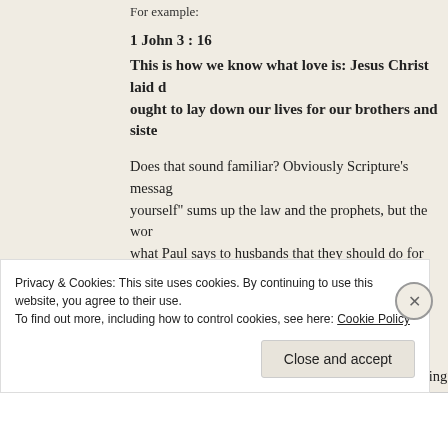For example:
1 John 3 : 16
This is how we know what love is: Jesus Christ laid d... ought to lay down our lives for our brothers and siste...
Does that sound familiar? Obviously Scripture's messa... yourself” sums up the law and the prophets, but the wor... what Paul says to husbands that they should do for their... not some “husband-exclusive” imperative.
Again, I do NOT want to see men self-indulgently hurti... way. However! That does not exclude a husband being m... himself:
Privacy & Cookies: This site uses cookies. By continuing to use this website, you agree to their use.
To find out more, including how to control cookies, see here: Cookie Policy
Close and accept